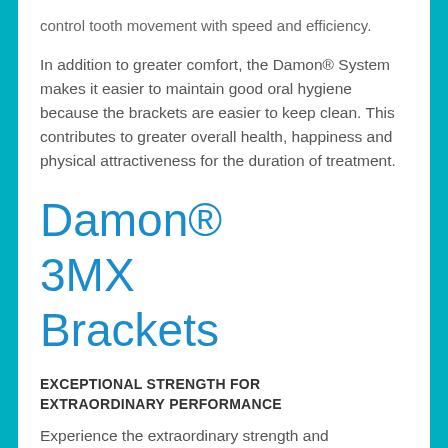control tooth movement with speed and efficiency.
In addition to greater comfort, the Damon® System makes it easier to maintain good oral hygiene because the brackets are easier to keep clean. This contributes to greater overall health, happiness and physical attractiveness for the duration of treatment.
Damon® 3MX Brackets
EXCEPTIONAL STRENGTH FOR EXTRAORDINARY PERFORMANCE
Experience the extraordinary strength and